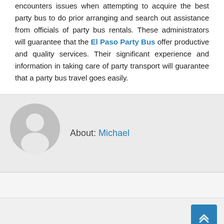encounters issues when attempting to acquire the best party bus to do prior arranging and search out assistance from officials of party bus rentals. These administrators will guarantee that the El Paso Party Bus offer productive and quality services. Their significant experience and information in taking care of party transport will guarantee that a party bus travel goes easily.
About: Michael
[Figure (illustration): Generic user avatar icon — grey circle with white silhouette of a person (head and shoulders)]